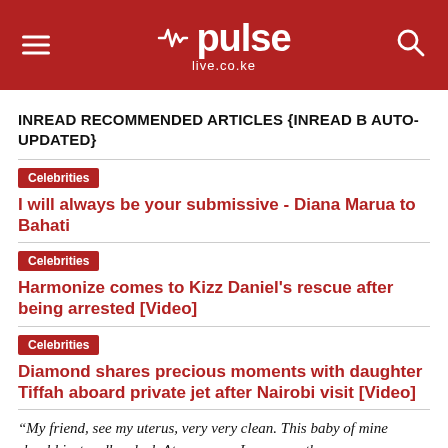pulse live.co.ke
INREAD RECOMMENDED ARTICLES {INREAD B AUTO-UPDATED}
Celebrities | I will always be your submissive - Diana Marua to Bahati
Celebrities | Harmonize comes to Kizz Daniel's rescue after being arrested [Video]
Celebrities | Diamond shares precious moments with daughter Tiffah aboard private jet after Nairobi visit [Video]
“My friend, see my uterus, very very clean. This baby of mine should just walk naked. At your age, I was a mother